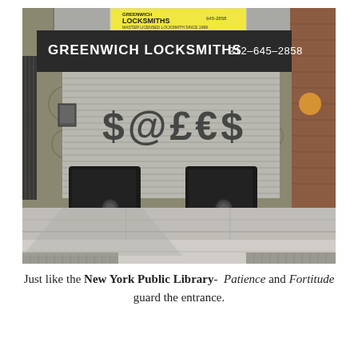[Figure (photo): Photograph of Greenwich Locksmiths storefront in New York City. The shop has a dark awning reading 'GREENWICH LOCKSMITHS 212-645-2858'. The metal roll-up security door is closed and has graffiti reading '$@£€$'. Two large black safes on wheels sit in front of the closed door on the sidewalk. The building facade features decorative stonework on the left and brick on the right. A yellow business sign hangs above the awning. The sidewalk in the foreground has concrete slabs and a metal grate.]
Just like the New York Public Library- Patience and Fortitude guard the entrance.